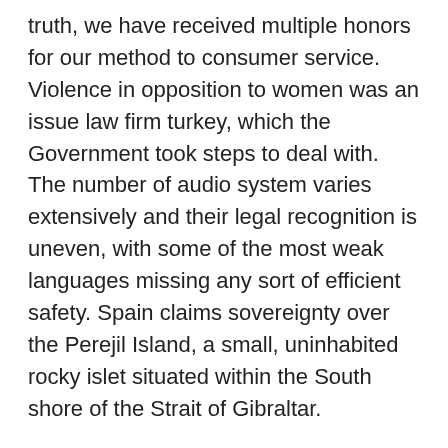truth, we have received multiple honors for our method to consumer service. Violence in opposition to women was an issue law firm turkey, which the Government took steps to deal with. The number of audio system varies extensively and their legal recognition is uneven, with some of the most weak languages missing any sort of efficient safety. Spain claims sovereignty over the Perejil Island, a small, uninhabited rocky islet situated within the South shore of the Strait of Gibraltar.
The inhabitants of Spain has risen 2 half of instances since 1900, when it stood at 18.6 million, principally because of the spectacular demographic boom in the Sixties and early 1970s. The traditional extradition agreement safeguards relating to dual-criminality, the presence of prima facie proof and the potential for a good trial have been waived by many European nations for a list of specified offences under the terms of the European